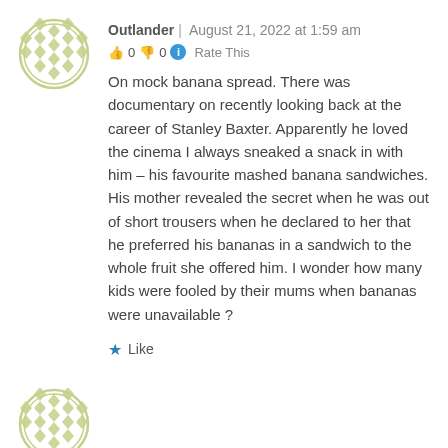[Figure (illustration): Circular avatar with green and white decorative diamond/lattice pattern]
Outlander | August 21, 2022 at 1:59 am
👍 0 👎 0 ℹ Rate This
On mock banana spread. There was documentary on recently looking back at the career of Stanley Baxter. Apparently he loved the cinema I always sneaked a snack in with him – his favourite mashed banana sandwiches. His mother revealed the secret when he was out of short trousers when he declared to her that he preferred his bananas in a sandwich to the whole fruit she offered him. I wonder how many kids were fooled by their mums when bananas were unavailable ?
★ Like
[Figure (illustration): Partial circular avatar with green and white decorative diamond/lattice pattern, cropped at bottom]